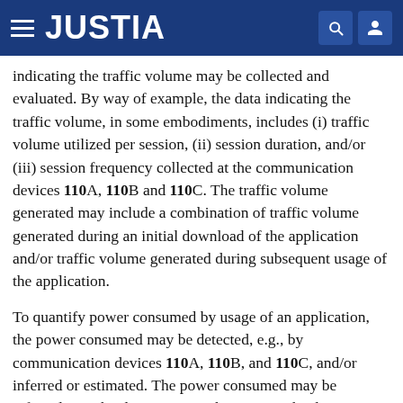JUSTIA
indicating the traffic volume may be collected and evaluated. By way of example, the data indicating the traffic volume, in some embodiments, includes (i) traffic volume utilized per session, (ii) session duration, and/or (iii) session frequency collected at the communication devices 110A, 110B and 110C. The traffic volume generated may include a combination of traffic volume generated during an initial download of the application and/or traffic volume generated during subsequent usage of the application.
To quantify power consumed by usage of an application, the power consumed may be detected, e.g., by communication devices 110A, 110B, and 110C, and/or inferred or estimated. The power consumed may be inferred, e.g., by detecting a packet trace at the device indicating the timing of packets, associated with at least